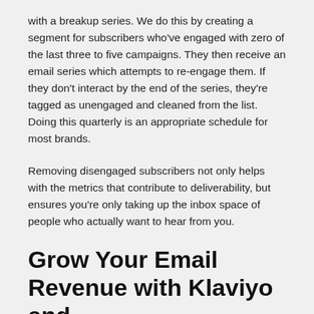with a breakup series. We do this by creating a segment for subscribers who've engaged with zero of the last three to five campaigns. They then receive an email series which attempts to re-engage them. If they don't interact by the end of the series, they're tagged as unengaged and cleaned from the list. Doing this quarterly is an appropriate schedule for most brands.
Removing disengaged subscribers not only helps with the metrics that contribute to deliverability, but ensures you're only taking up the inbox space of people who actually want to hear from you.
Grow Your Email Revenue with Klaviyo and